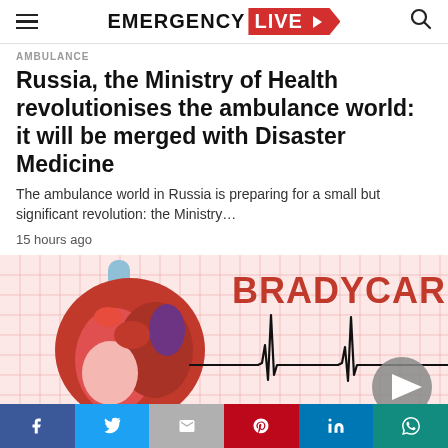EMERGENCY LIVE
AMBULANCE
Russia, the Ministry of Health revolutionises the ambulance world: it will be merged with Disaster Medicine
The ambulance world in Russia is preparing for a small but significant revolution: the Ministry…
15 hours ago
[Figure (photo): Medical illustration showing a human heart model on a pink ECG grid background with a slow heartbeat waveform, with bold red text 'BRADYCARDIA' on the right side. A play button icon appears in the lower right.]
Social share buttons: Facebook, Twitter, Gmail, Pinterest, LinkedIn, WhatsApp